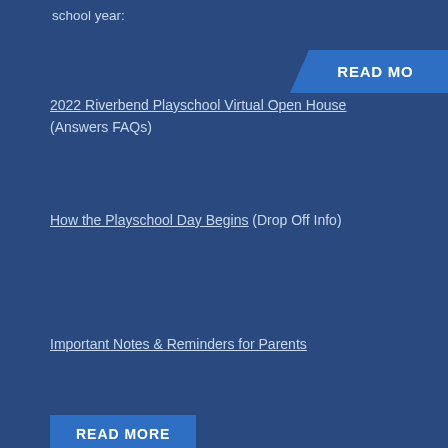school year:
2022 Riverbend Playschool Virtual Open House (Answers FAQs)
How the Playschool Day Begins (Drop Off Info)
Important Notes & Reminders for Parents
READ MORE
RIVERBEND PLAYSCHOOL © 2022    PRIVACY POLICY
Find Us On...